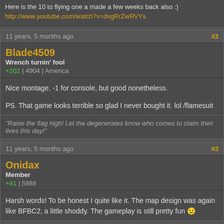Here is the 10 to flying one a made a few weeks back also :) http://www.youtube.com/watch?v=dvgRrZwRVYs
11 years, 5 months ago #2
Blade4509
Wrench turnin' fool
+202 | 4904 | America
Nice montage. -1 for console, but good nonetheless.

PS. That game looks terrible so glad I never bought it. lol /flamesuit
"Raise the flag high! Let the degenerates know who comes to claim their lives this day!"
11 years, 5 months ago #3
Onidax
Member
+41 | 5888
Harsh words! To be honest I quite like it. The map design was again like BFBC2, a little shoddy. The gameplay is still pretty fun 😉
11 years, 5 months ago #4
11 Bravo
Banned